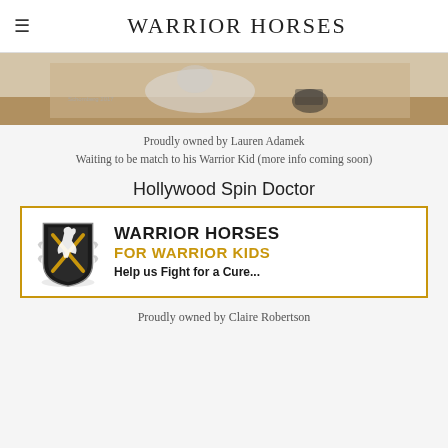Warrior Horses
[Figure (photo): A horse with a person in a wheelchair, painted artwork scene]
Proudly owned by Lauren Adamek
Waiting to be match to his Warrior Kid (more info coming soon)
Hollywood Spin Doctor
[Figure (logo): Warrior Horses for Warrior Kids logo with shield emblem featuring a rearing horse. Text: WARRIOR HORSES FOR WARRIOR KIDS Help us Fight for a Cure...]
Proudly owned by Claire Robertson